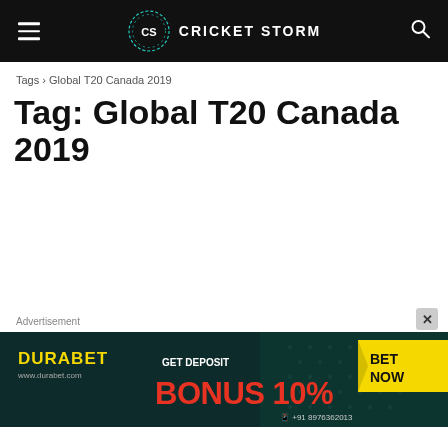CRICKET STORM
Tags › Global T20 Canada 2019
Tag: Global T20 Canada 2019
Advertisement
[Figure (infographic): Durabet advertisement banner: GET DEPOSIT BONUS 10% BET NOW, www.durabet.com, +91 8976362013]